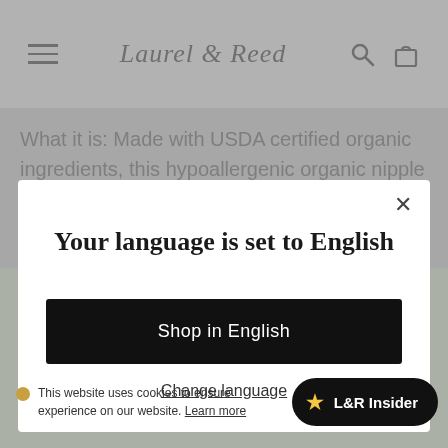Laurel & Reed
What it is: Made with USDA certified organic ingredients, this hypoallergenic organic nipple balm helps soothe tender,
Your language is set to English
Shop in English
Change language
[Figure (other): Product packaging for HAPPY LEGS FOR TIRED ANKLES visible behind modal]
This website uses cookies to ensure experience on our website. Learn more
L&R Insider